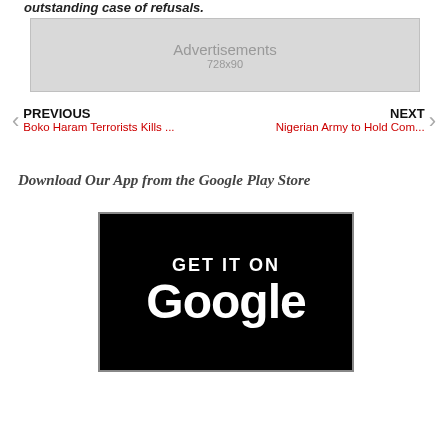outstanding case of refusals.
[Figure (other): Advertisement placeholder box labeled 'Advertisements 728x90']
PREVIOUS
Boko Haram Terrorists Kills ...
NEXT
Nigerian Army to Hold Com...
Download Our App from the Google Play Store
[Figure (other): Google Play Store badge showing 'GET IT ON Google' in white text on black background]